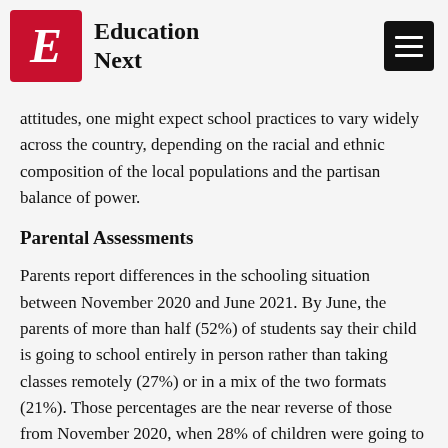Education Next
attitudes, one might expect school practices to vary widely across the country, depending on the racial and ethnic composition of the local populations and the partisan balance of power.
Parental Assessments
Parents report differences in the schooling situation between November 2020 and June 2021. By June, the parents of more than half (52%) of students say their child is going to school entirely in person rather than taking classes remotely (27%) or in a mix of the two formats (21%). Those percentages are the near reverse of those from November 2020, when 28% of children were going to school in person full time, 53% of them were attending school remotely, and the rest were about to attend school for a time, indicating that